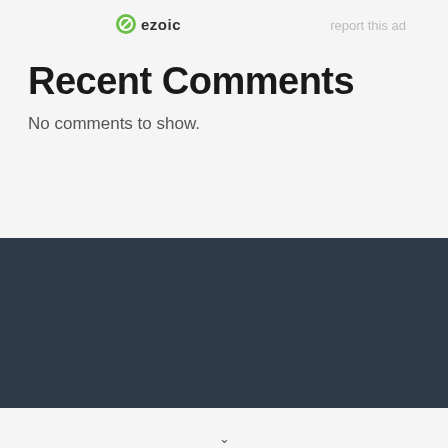[Figure (logo): Ezoic logo with green circular icon and text 'ezoic']
report this ad
Recent Comments
No comments to show.